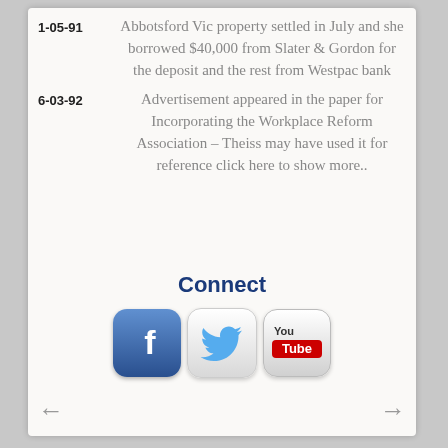1-05-91 — Abbotsford Vic property settled in July and she borrowed $40,000 from Slater & Gordon for the deposit and the rest from Westpac bank
6-03-92 — Advertisement appeared in the paper for Incorporating the Workplace Reform Association - Theiss may have used it for reference click here to show more..
Connect
[Figure (illustration): Three social media icons: Facebook, Twitter, and YouTube]